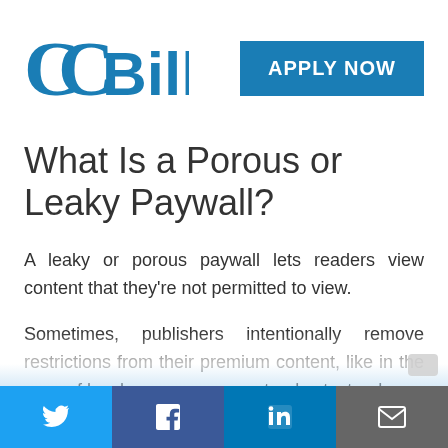[Figure (logo): CCBill logo in blue with stylized C and 'Bill' text]
[Figure (other): Blue 'APPLY NOW' button]
What Is a Porous or Leaky Paywall?
A leaky or porous paywall lets readers view content that they're not permitted to view.
Sometimes, publishers intentionally remove restrictions from their premium content, like in the case of local emergency or natural catastrophe.
Some websites using a metered paywall don't count the first article that a visitor reads from a search engine results.
Social share bar: Twitter, Facebook, LinkedIn, Email